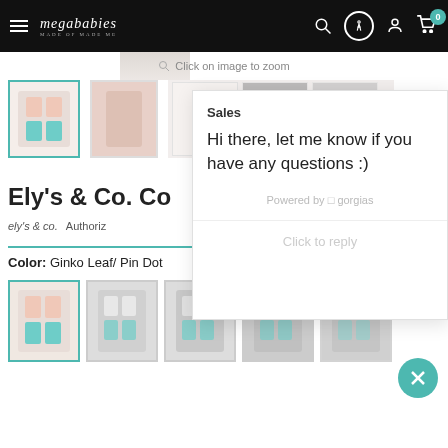megababies
Click on image to zoom
[Figure (screenshot): Product thumbnail - Ely's & Co. clothing set in teal and pink, selected with teal border]
[Figure (screenshot): Product thumbnail - pink/blush colored item]
[Figure (screenshot): Additional product thumbnails partially visible]
Ely's & Co. Co
ely's & co.  Authoriz
[Figure (screenshot): Chat popup from Gorgias - Sales chat widget showing message: Hi there, let me know if you have any questions :)]
Color: Ginko Leaf/ Pin Dot
[Figure (screenshot): Bottom product color thumbnails - 5 color swatches shown, first selected with teal border]